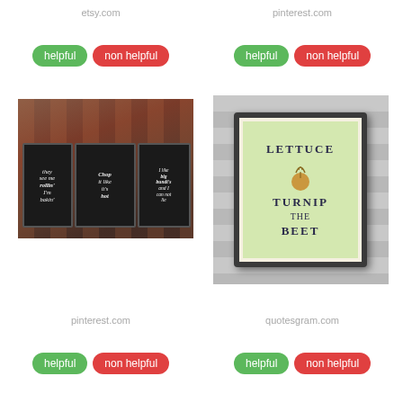etsy.com
helpful  non helpful
pinterest.com
helpful  non helpful
[Figure (photo): Chalkboard kitchen signs with humorous cooking quotes on brick background: 'they see me rollin' I'm bakin'', 'Chop it like it's hot', 'I like big bundt's and I can not lie']
[Figure (photo): Framed print on wooden wall reading 'LETTUCE TURNIP THE BEET' with a beet/turnip illustration on green background, dark frame]
pinterest.com
helpful  non helpful
quotesgram.com
helpful  non helpful